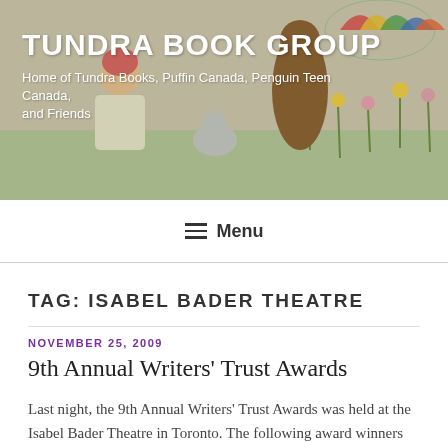[Figure (illustration): Tundra Book Group website banner with illustrated children and colorful background showing figures with umbrellas and flowers]
TUNDRA BOOK GROUP
Home of Tundra Books, Puffin Canada, Penguin Teen Canada, and Friends
≡ Menu
TAG: ISABEL BADER THEATRE
NOVEMBER 25, 2009
9th Annual Writers' Trust Awards
Last night, the 9th Annual Writers' Trust Awards was held at the Isabel Bader Theatre in Toronto. The following award winners were announced:
Writers' Trust of Canada/McClelland & Stewart